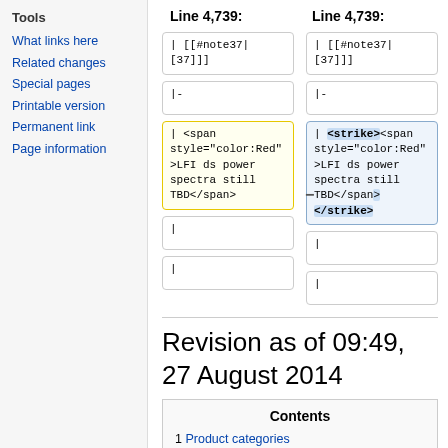Tools
What links here
Related changes
Special pages
Printable version
Permanent link
Page information
[Figure (screenshot): Diff view showing Line 4,739 on both sides. Left (old): box with '| [[#note37|[37]]]', box with '|-', highlighted yellow box with '| <span style="color:Red">LFI ds power spectra still TBD</span>'. Right (new): box with '| [[#note37|[37]]]', box with '|-', highlighted blue box with '| <strike><span style="color:Red">LFI ds power spectra still TBD</span> </strike>' (strike highlighted). Below: two boxes each side with '|'. Minus sign between left col and yellow box, plus sign between right col and blue box.]
Revision as of 09:49, 27 August 2014
| Contents |
| --- |
| 1 Product categories |